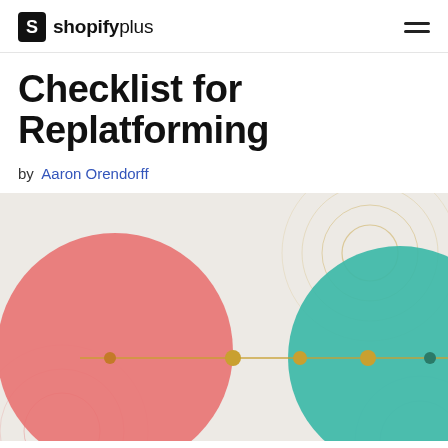shopifyplus
Checklist for Replatforming
by Aaron Orendorff
[Figure (illustration): Abstract graphic with a salmon/coral large circle on the left and a teal large circle on the right, connected by a horizontal line with small golden dot nodes. Concentric decorative rings in gold and light gray appear in background. Background is light warm gray.]